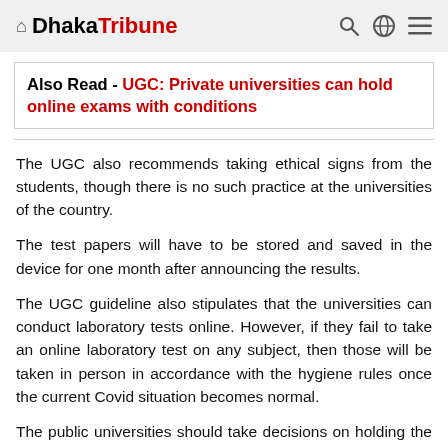Dhaka Tribune
Also Read - UGC: Private universities can hold online exams with conditions
The UGC also recommends taking ethical signs from the students, though there is no such practice at the universities of the country.
The test papers will have to be stored and saved in the device for one month after announcing the results.
The UGC guideline also stipulates that the universities can conduct laboratory tests online. However, if they fail to take an online laboratory test on any subject, then those will be taken in person in accordance with the hygiene rules once the current Covid situation becomes normal.
The public universities should take decisions on holding the exams in line with their academic council rules and regulations so that effective steps are taken to reduce session jams, reads the guideline.